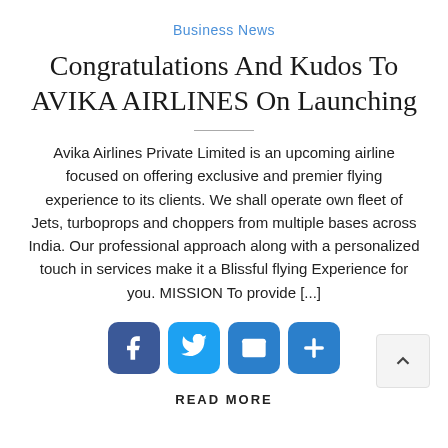Business News
Congratulations And Kudos To AVIKA AIRLINES On Launching
Avika Airlines Private Limited is an upcoming airline focused on offering exclusive and premier flying experience to its clients. We shall operate own fleet of Jets, turboprops and choppers from multiple bases across India. Our professional approach along with a personalized touch in services make it a Blissful flying Experience for you. MISSION To provide [...]
[Figure (other): Social sharing buttons: Facebook, Twitter, Email, Add/More]
READ MORE